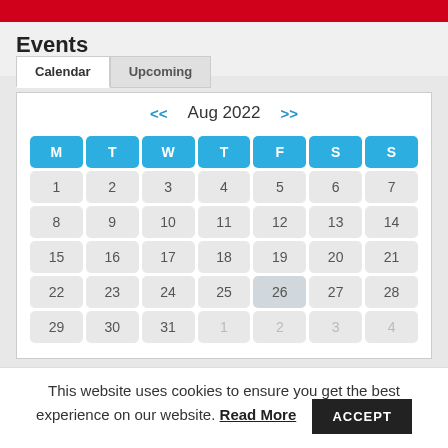[Figure (screenshot): Red banner at top of page]
Events
Calendar | Upcoming (tabs)
[Figure (other): August 2022 monthly calendar widget with navigation arrows << and >>, day headers M T W T F S S, and dates 1-31 plus greyed-out trailing days 1 2 3 4]
This website uses cookies to ensure you get the best experience on our website. Read More  ACCEPT